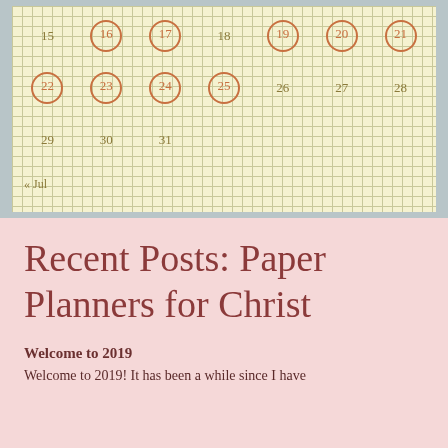[Figure (other): Partial calendar grid on a cream graph-paper background showing dates 15-31 with some circled (16,17,19,20,21,22,23,24,25), navigation link '« Jul', background teal border]
Recent Posts: Paper Planners for Christ
Welcome to 2019
Welcome to 2019!  It has been a while since I have